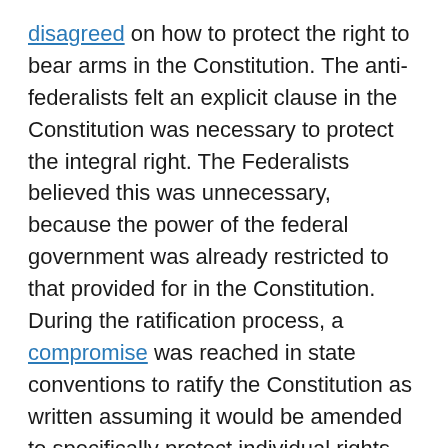disagreed on how to protect the right to bear arms in the Constitution. The anti-federalists felt an explicit clause in the Constitution was necessary to protect the integral right. The Federalists believed this was unnecessary, because the power of the federal government was already restricted to that provided for in the Constitution. During the ratification process, a compromise was reached in state conventions to ratify the Constitution as written assuming it would be amended to specifically protect individual rights and liberties, including the right to bear arms.
At this time in history, militias were an important political consideration. These troops, composed of self-armed everyday citizens, were seen to be the